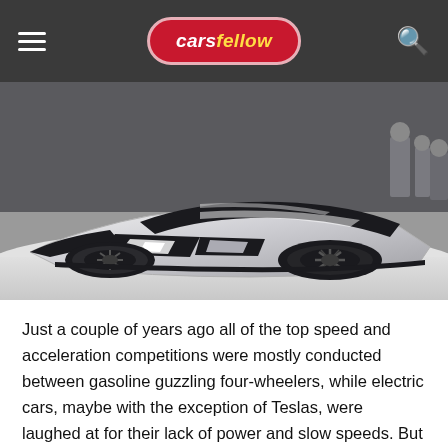carsfellow
[Figure (photo): Front three-quarter view of a white and black futuristic concept sports car displayed on a white platform at an auto show.]
Just a couple of years ago all of the top speed and acceleration competitions were mostly conducted between gasoline guzzling four-wheelers, while electric cars, maybe with the exception of Teslas, were laughed at for their lack of power and slow speeds. But it does seem the days of internal